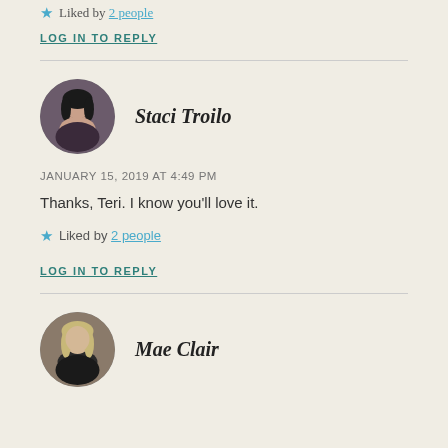★ Liked by 2 people
LOG IN TO REPLY
Staci Troilo
JANUARY 15, 2019 AT 4:49 PM
Thanks, Teri. I know you'll love it.
★ Liked by 2 people
LOG IN TO REPLY
Mae Clair